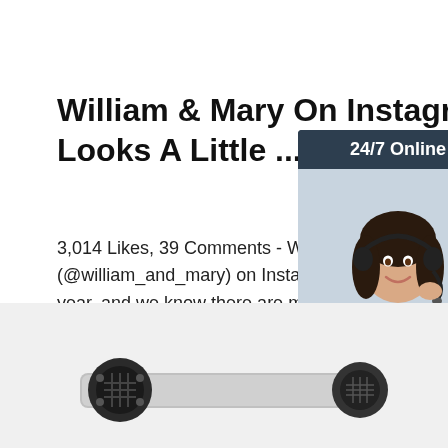William & Mary On Instagram: 'Move-In Looks A Little ...
3,014 Likes, 39 Comments - William & Mary (@william_and_mary) on Instagram: 'Move-In looks different this year, and we know there are mixed emotions now. We want...'
[Figure (photo): Customer service agent woman with headset, 24/7 Online chat widget with orange QUOTATION button]
[Figure (photo): Industrial motor or fan equipment, partially visible at bottom of page]